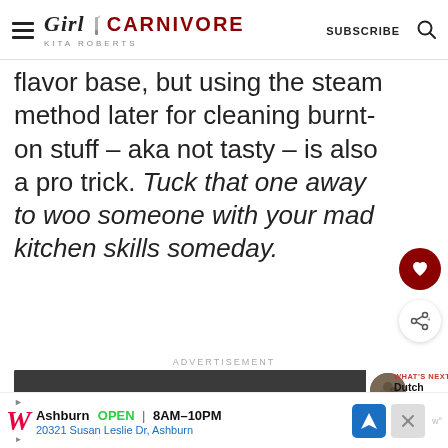GIRL CARNIVORE - KITA ROBERTS | SUBSCRIBE
flavor base, but using the steam method later for cleaning burnt-on stuff – aka not tasty – is also a pro trick. Tuck that one away to woo someone with your mad kitchen skills someday.
ADVERTISEMENT
[Figure (photo): Advertisement image showing colorful chalk art on asphalt with green and pink semicircle shapes]
[Figure (photo): What's Next thumbnail for Dutch Oven Shrimp Korma recipe]
WHAT'S NEXT → Dutch Oven Shrimp Korma
Ashburn OPEN 8AM–10PM 20321 Susan Leslie Dr, Ashburn